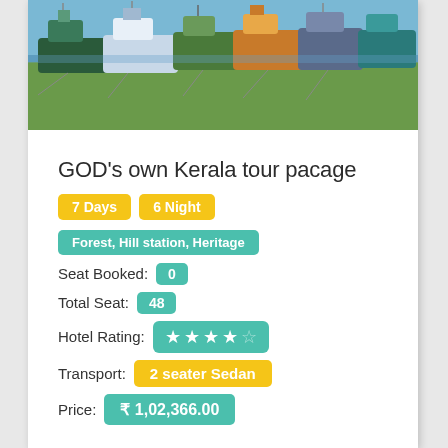[Figure (photo): Boats docked near a waterway with green grass and water in the background]
GOD's own Kerala tour pacage
7 Days  6 Night
Forest, Hill station, Heritage
Seat Booked: 0
Total Seat: 48
Hotel Rating: 4 stars
Transport: 2 seater Sedan
Price: ₹ 1,02,366.00